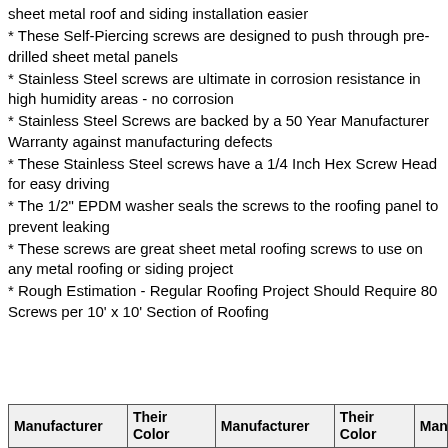sheet metal roof and siding installation easier
* These Self-Piercing screws are designed to push through pre-drilled sheet metal panels
* Stainless Steel screws are ultimate in corrosion resistance in high humidity areas - no corrosion
* Stainless Steel Screws are backed by a 50 Year Manufacturer Warranty against manufacturing defects
* These Stainless Steel screws have a 1/4 Inch Hex Screw Head for easy driving
* The 1/2" EPDM washer seals the screws to the roofing panel to prevent leaking
* These screws are great sheet metal roofing screws to use on any metal roofing or siding project
* Rough Estimation - Regular Roofing Project Should Require 80 Screws per 10' x 10' Section of Roofing
| Manufacturer | Their Color | Manufacturer | Their Color | Manufa... |
| --- | --- | --- | --- | --- |